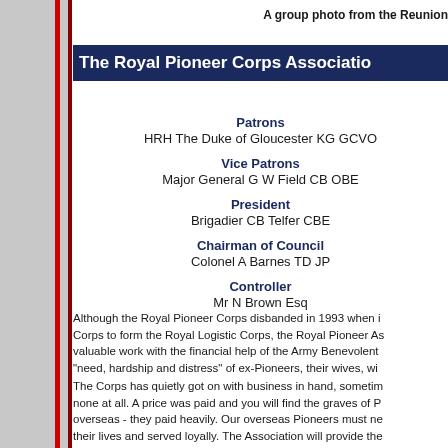A group photo from the Reunion
The Royal Pioneer Corps Association
Patrons
HRH The Duke of Gloucester  KG GCVO
Vice Patrons
Major General G W Field  CB OBE
President
Brigadier CB Telfer CBE
Chairman of Council
Colonel A Barnes TD JP
Controller
Mr N Brown Esq
Although the Royal Pioneer Corps disbanded in 1993 when it merged with other Corps to form the Royal Logistic Corps, the Royal Pioneer Association continues valuable work with the financial help of the Army Benevolent Fund to relieve "need, hardship and distress" of ex-Pioneers, their wives, wi
The Corps has quietly got on with business in hand, sometimes appreciated, sometimes none at all. A price was paid and you will find the graves of Pioneers buried overseas - they paid heavily. Our overseas Pioneers must never be forgotten, they gave their lives and served loyally. The Association will provide the link to keep Royal Pioneer Corps affairs both socially and supportively. It will need your